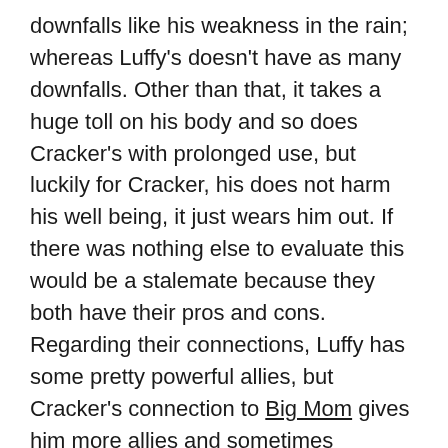downfalls like his weakness in the rain; whereas Luffy's doesn't have as many downfalls. Other than that, it takes a huge toll on his body and so does Cracker's with prolonged use, but luckily for Cracker, his does not harm his well being, it just wears him out. If there was nothing else to evaluate this would be a stalemate because they both have their pros and cons. Regarding their connections, Luffy has some pretty powerful allies, but Cracker's connection to Big Mom gives him more allies and sometimes numbers is all you need. However, it is important to remember that Big Mom has some very powerful people in her crew, a lot of which we probably don't even know about. It is highly possible that Cracker's allies might even be more powerful than Luffy's. When it comes down to Luffy versus